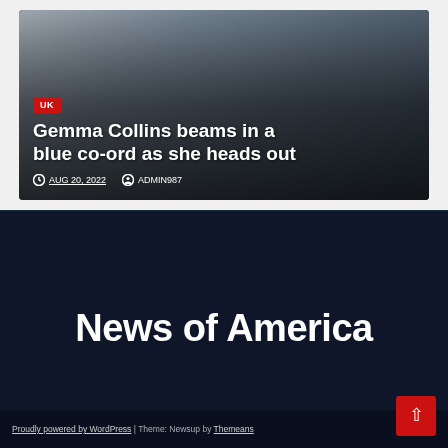[Figure (photo): News article card showing Gemma Collins in a blue co-ord outfit, walking with luggage. Card overlaid with article headline, UK category badge, and metadata.]
Gemma Collins beams in a blue co-ord as she heads out
AUG 20, 2022  ADMIN987
News of America
Proudly powered by WordPress | Theme: Newsup by Themeans